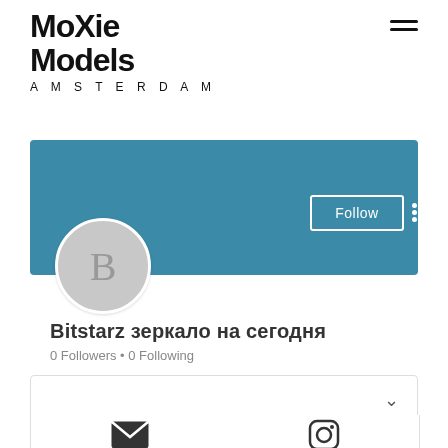MoXie Models AMSTERDAM
[Figure (screenshot): Social media profile page for 'Bitstarz зеркало на сегодня' showing a teal banner, avatar with letter B, Follow button, 0 Followers • 0 Following, bio box, and social icons]
Bitstarz зеркало на сегодня
0 Followers • 0 Following